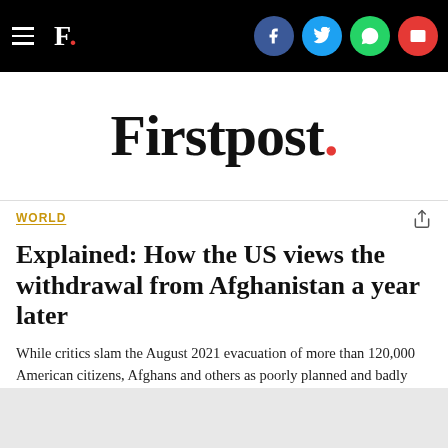[Figure (screenshot): Firstpost website navigation bar with hamburger menu, F. logo on black background, and social media icons (Facebook, Twitter, WhatsApp, Email)]
[Figure (logo): Firstpost wordmark logo in large serif font with red period/dot]
WORLD
Explained: How the US views the withdrawal from Afghanistan a year later
While critics slam the August 2021 evacuation of more than 120,000 American citizens, Afghans and others as poorly planned and badly executed, others counter that it was time to end America's longest war and that leaving forces in the country would risk their lives and gain little